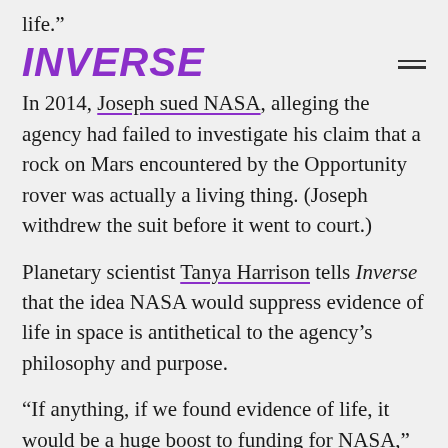life.”
[Figure (logo): INVERSE logo in bold italic purple text, with hamburger menu icon on the right]
In 2014, Joseph sued NASA, alleging the agency had failed to investigate his claim that a rock on Mars encountered by the Opportunity rover was actually a living thing. (Joseph withdrew the suit before it went to court.)
Planetary scientist Tanya Harrison tells Inverse that the idea NASA would suppress evidence of life in space is antithetical to the agency’s philosophy and purpose.
“If anything, if we found evidence of life, it would be a huge boost to funding for NASA,” Harrison says. “So they would publicize the heck out of it.”
According to Joseph, the evidence of life on Mars is not limited to fungi. He has recently self-published papers